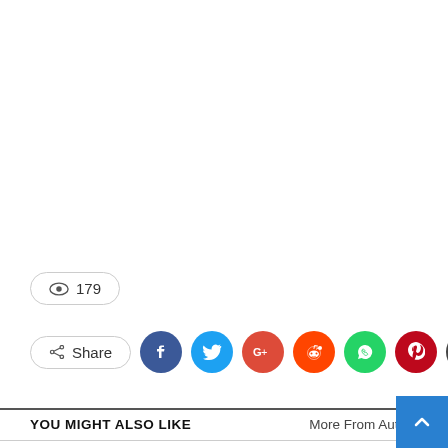179 (views)
Share (social share buttons: Facebook, Twitter, Google+, Reddit, WhatsApp, Pinterest, Email, More)
YOU MIGHT ALSO LIKE
More From Author